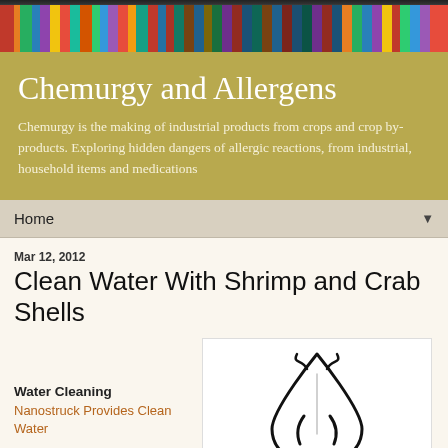[Figure (illustration): Bookshelf with colorful books as website header image]
Chemurgy and Allergens
Chemurgy is the making of industrial products from crops and crop by-products. Exploring hidden dangers of allergic reactions, from industrial, household items and medications
Home ▼
Mar 12, 2012
Clean Water With Shrimp and Crab Shells
Water Cleaning
Nanostruck Provides Clean Water
[Figure (illustration): Water drop icon — black outline of a teardrop/water drop shape]